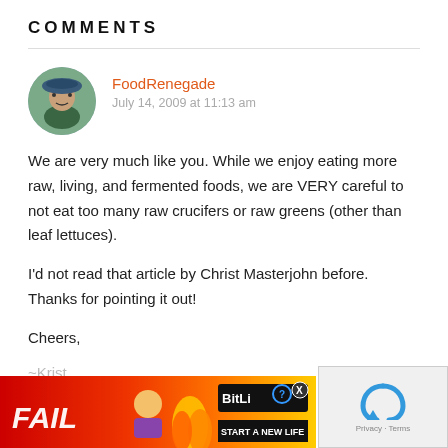COMMENTS
FoodRenegade
July 14, 2009 at 11:13 am
We are very much like you. While we enjoy eating more raw, living, and fermented foods, we are VERY careful to not eat too many raw crucifers or raw greens (other than leaf lettuces).
I'd not read that article by Christ Masterjohn before. Thanks for pointing it out!
Cheers,
~Krist
(AKA
[Figure (screenshot): Advertisement overlay: BitLife 'Start a New Life' game ad with red/orange/yellow gradient background, FAIL text, cartoon character, and BitLife logo with question mark and X buttons.]